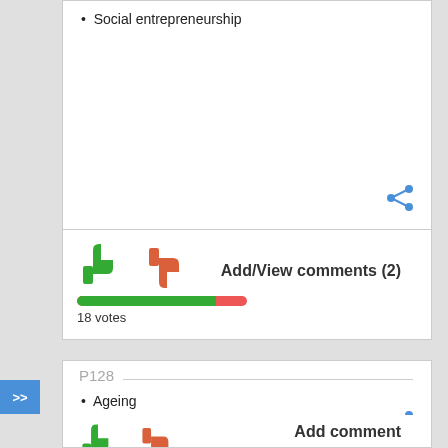Social entrepreneurship
[Figure (infographic): Share icon (blue) in bottom-right of card]
[Figure (infographic): Thumbs up (green) and thumbs down (red/orange) vote icons with progress bar showing 18 votes, and Add/View comments (2) link]
Ageing
P128
[Figure (infographic): Share icon (blue) in bottom-right of second card]
[Figure (infographic): Thumbs up (green) and thumbs down (red/orange) vote icons with Add comment link (partial, cut off at bottom)]